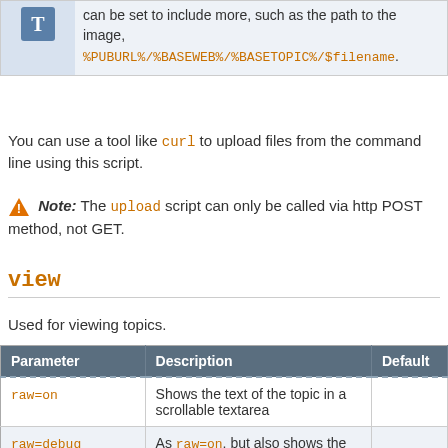|  |  |
| --- | --- |
| [T icon] | can be set to include more, such as the path to the image, %PUBURL%/%BASEWEB%/%BASETOPIC%/$filename. |
You can use a tool like curl to upload files from the command line using this script.
Note: The upload script can only be called via http POST method, not GET.
view
Used for viewing topics.
| Parameter | Description | Default |
| --- | --- | --- |
| raw=on | Shows the text of the topic in a scrollable textarea |  |
| raw=debug | As raw=on, but also shows the metadata (forms etc) associated with the topic. |  |
| raw=text | Shows only the source of the topic, as plain text (Content-type: |  |